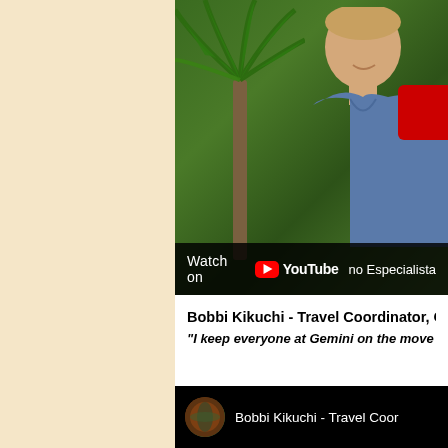[Figure (screenshot): YouTube video thumbnail showing a man in a blue polo shirt outdoors with a palm tree, with a 'Watch on YouTube' bar overlay and partial text 'no Especialista' visible. A red YouTube button is partially visible in the top right corner.]
Bobbi Kikuchi - Travel Coordinator, G
"I keep everyone at Gemini on the move by co
[Figure (screenshot): YouTube video embed row showing a circular thumbnail avatar (appears to be an earth/globe image) and the text 'Bobbi Kikuchi - Travel Coor' on a black background.]